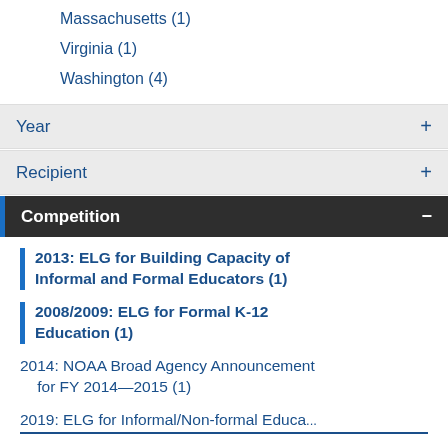Massachusetts (1)
Virginia (1)
Washington (4)
Year +
Recipient +
Competition -
2013: ELG for Building Capacity of Informal and Formal Educators (1)
2008/2009: ELG for Formal K-12 Education (1)
2014: NOAA Broad Agency Announcement for FY 2014—2015 (1)
2019: ELG for Informal/Non-formal Educa...